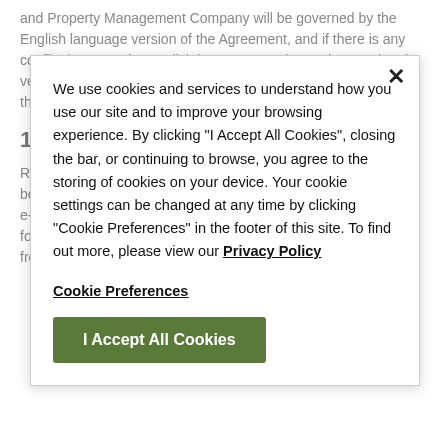and Property Management Company will be governed by the English language version of the Agreement, and if there is any conflict between the English language version and a translated version, the English language version will prevail. Please refer to the Policy for the applicable terms.
15.5 Opt-Out or Change Information
Requests to change your personally identifiable information may be submitted using the contact information below. We may send e-mail services. If you wish to discontinue such communications, follow the directions contained in the email to remove your name from our mailing list.
We use cookies and services to understand how you use our site and to improve your browsing experience. By clicking "I Accept All Cookies", closing the bar, or continuing to browse, you agree to the storing of cookies on your device. Your cookie settings can be changed at any time by clicking "Cookie Preferences" in the footer of this site. To find out more, please view our Privacy Policy
Cookie Preferences
I Accept All Cookies
15.6 Governing Law; Forum and Venue Selection
All matters relating to the Site and these Terms and any dispute or claim arising therefrom or related thereto (in each case, including non-contractual disputes or claims),shall be governed by and construed in accordance with the internal laws of the